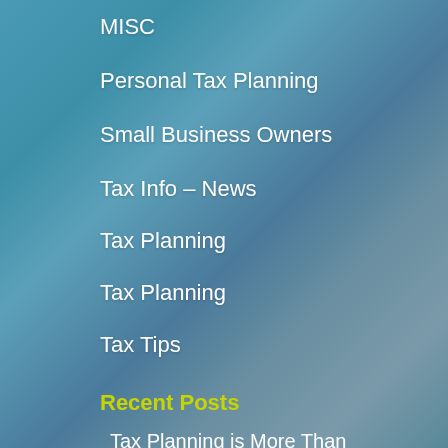MISC
Personal Tax Planning
Small Business Owners
Tax Info – News
Tax Planning
Tax Planning
Tax Tips
Recent Posts
Tax Planning is More Than Minimizing Taxes for the Current Year